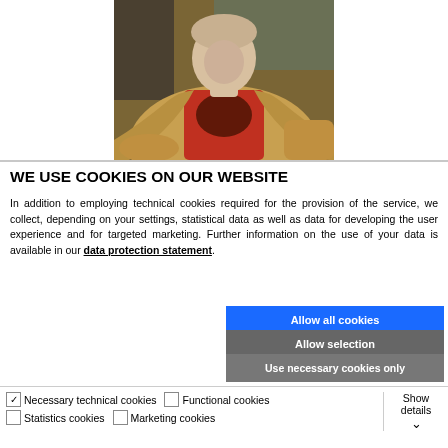[Figure (photo): A person wearing a tan/beige zip-up hoodie over a red graphic t-shirt, seated, photographed from the torso up.]
WE USE COOKIES ON OUR WEBSITE
In addition to employing technical cookies required for the provision of the service, we collect, depending on your settings, statistical data as well as data for developing the user experience and for targeted marketing. Further information on the use of your data is available in our data protection statement.
Allow all cookies
Allow selection
Use necessary cookies only
Necessary technical cookies  Functional cookies  Statistics cookies  Marketing cookies  Show details